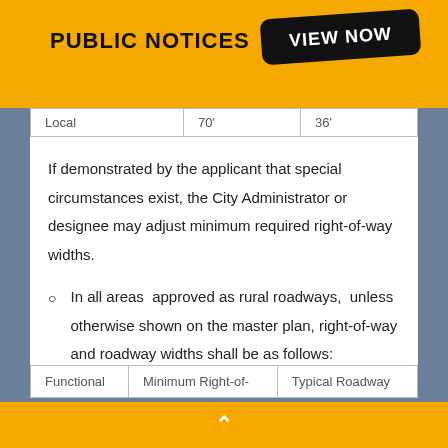PUBLIC NOTICES
| Functional | Minimum Right-of- | Typical Roadway |
| --- | --- | --- |
| Local | 70' | 36' |
If demonstrated by the applicant that special circumstances exist, the City Administrator or designee may adjust minimum required right-of-way widths.
In all areas approved as rural roadways, unless otherwise shown on the master plan, right-of-way and roadway widths shall be as follows:
| Functional | Minimum Right-of- | Typical Roadway |
| --- | --- | --- |